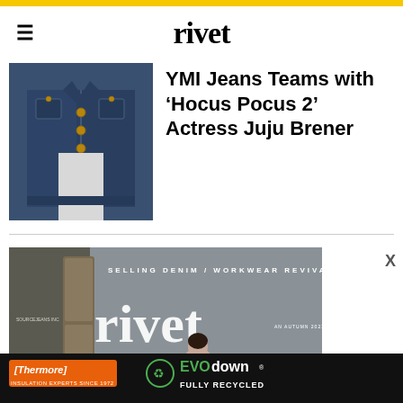rivet
[Figure (photo): Close-up photo of a person wearing a dark blue denim jacket with gold buttons over a white knit top]
YMI Jeans Teams with ‘Hocus Pocus 2’ Actress Juju Brener
[Figure (photo): Rivet magazine cover featuring a woman posing with text reading SELLING DENIM / WORKWEAR REVIVAL and the rivet logo]
[Figure (photo): Thermore EVO down advertisement banner - Thermore Insulation Experts Since 1972, EVO down Fully Recycled]